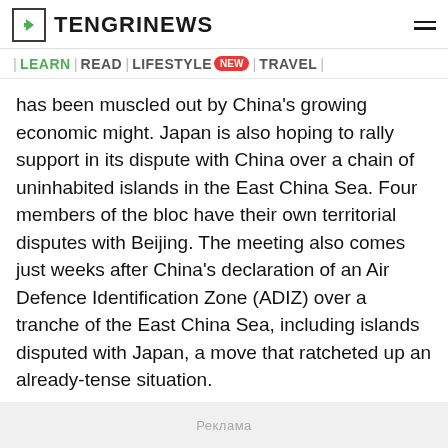TENGRINEWS
| LEARN | READ | LIFESTYLE NEW | TRAVEL |
has been muscled out by China's growing economic might. Japan is also hoping to rally support in its dispute with China over a chain of uninhabited islands in the East China Sea. Four members of the bloc have their own territorial disputes with Beijing. The meeting also comes just weeks after China's declaration of an Air Defence Identification Zone (ADIZ) over a tranche of the East China Sea, including islands disputed with Japan, a move that ratcheted up an already-tense situation.
Реклама
ПОДЕЛИТЬСЯ
LAST NEWS